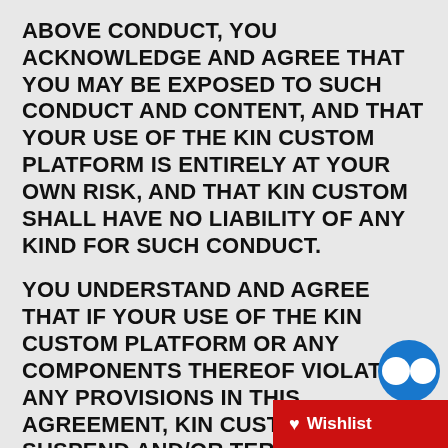ABOVE CONDUCT, YOU ACKNOWLEDGE AND AGREE THAT YOU MAY BE EXPOSED TO SUCH CONDUCT AND CONTENT, AND THAT YOUR USE OF THE KIN CUSTOM PLATFORM IS ENTIRELY AT YOUR OWN RISK, AND THAT KIN CUSTOM SHALL HAVE NO LIABILITY OF ANY KIND FOR SUCH CONDUCT.
YOU UNDERSTAND AND AGREE THAT IF YOUR USE OF THE KIN CUSTOM PLATFORM OR ANY COMPONENTS THEREOF VIOLATES ANY PROVISIONS IN THIS AGREEMENT, KIN CUSTOM CAN SUSPEND AND/OR TERMINATE YOUR USE OF THE KIN CUSTOM PLATFORM IMMEDIATELY WITHOUT PRIOR NOTICE AND WITHOUT ANY RIGHT OF REFUND, SET-OFF, OR HEARING. FURTHER, KIN CUSTOM MAY ALSO SEEK ADDITIONAL REMEDIES AS SUCH REME...